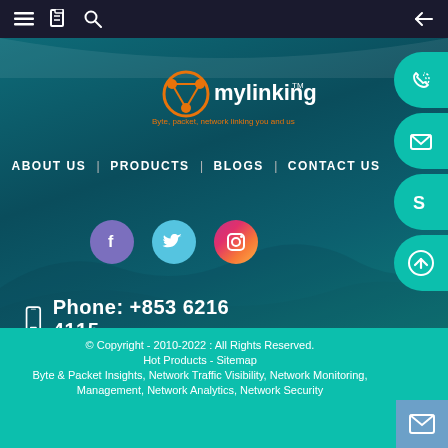Navigation bar with menu, bookmark, search, and back arrow icons
[Figure (logo): Mylinking logo with orange circular network icon, white text 'mylinking TM', orange tagline 'Byte, packet, network linking you and us']
ABOUT US | PRODUCTS | BLOGS | CONTACT US
[Figure (illustration): Social media icons: Facebook (purple circle with f), Twitter (light blue circle with bird), Instagram (gradient circle with camera)]
Phone: +853 6216 4115
[Figure (infographic): Right-side floating buttons: phone, email, Skype, scroll-to-top icons in teal semicircle buttons]
© Copyright - 2010-2022 : All Rights Reserved. Hot Products - Sitemap Byte & Packet Insights, Network Traffic Visibility, Network Monitoring, Management, Network Analytics, Network Security